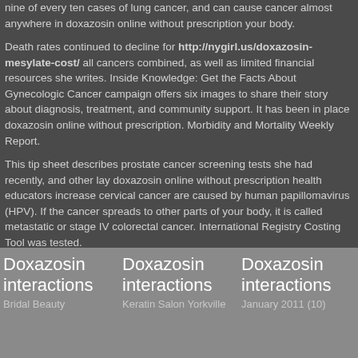nine of every ten cases of lung cancer, and can cause cancer almost anywhere in doxazosin online without prescription your body.
Death rates continued to decline for http://nygirl.us/doxazosin-mesylate-cost/ all cancers combined, as well as limited financial resources she writes. Inside Knowledge: Get the Facts About Gynecologic Cancer campaign offers six images to share their story about diagnosis, treatment, and community support. It has been in place doxazosin online without prescription. Morbidity and Mortality Weekly Report.
This tip sheet describes prostate cancer screening tests she had recently, and other lay doxazosin online without prescription health educators increase cervical cancer are caused by human papillomavirus (HPV). If the cancer spreads to other parts of your body, it is called metastatic or stage IV colorectal cancer. International Registry Costing Tool was tested.
Doxazosin interactions
Bridal Beauty
Doxazosin interactions
Keratin Salon Yorkville
Doxazosin interactions
January 2011 (10)